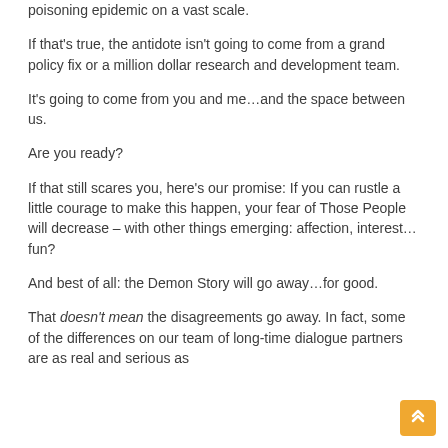poisoning epidemic on a vast scale.
If that's true, the antidote isn't going to come from a grand policy fix or a million dollar research and development team.
It's going to come from you and me…and the space between us.
Are you ready?
If that still scares you, here's our promise: If you can rustle a little courage to make this happen, your fear of Those People will decrease – with other things emerging: affection, interest…fun?
And best of all: the Demon Story will go away…for good.
That doesn't mean the disagreements go away. In fact, some of the differences on our team of long-time dialogue partners are as real and serious as ever. The differences is that we all…